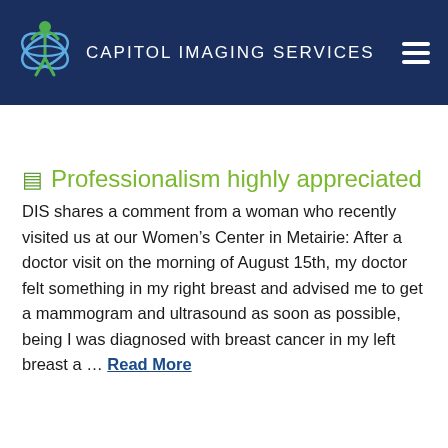CAPITOL IMAGING SERVICES
Professionalism highly appreciated
DIS shares a comment from a woman who recently visited us at our Women’s Center in Metairie: After a doctor visit on the morning of August 15th, my doctor felt something in my right breast and advised me to get a mammogram and ultrasound as soon as possible, being I was diagnosed with breast cancer in my left breast a … Read More